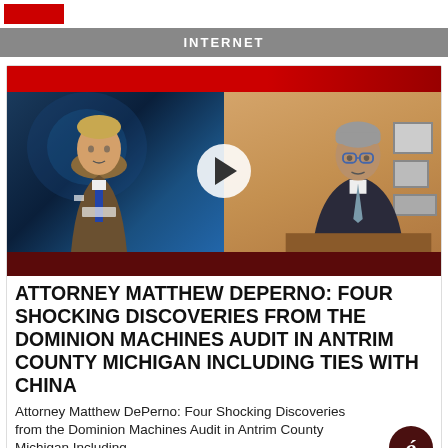INTERNET
[Figure (screenshot): Video thumbnail showing a split-screen news broadcast: left side shows a news anchor in a suit at a blue-lit desk, right side shows an attorney (Matthew DePerno) in a dark suit with glasses in an office setting. A white circular play button is overlaid in the center. A red stripe runs across the top and a dark red bar at the bottom.]
ATTORNEY MATTHEW DEPERNO: FOUR SHOCKING DISCOVERIES FROM THE DOMINION MACHINES AUDIT IN ANTRIM COUNTY MICHIGAN INCLUDING TIES WITH CHINA
Attorney Matthew DePerno: Four Shocking Discoveries from the Dominion Machines Audit in Antrim County Michigan Including
READ MORE >